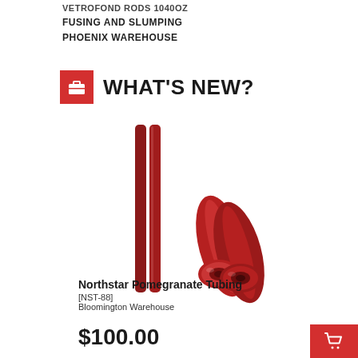VETROFOND RODS 1040OZ
FUSING AND SLUMPING
PHOENIX WAREHOUSE
WHAT'S NEW?
[Figure (photo): Two dark red glass rods (tubings) standing vertically on the left, and two dark red glass tubes lying horizontally on the right showing circular ends — Northstar Pomegranate Tubing product photo.]
Northstar Pomegranate Tubing
[NST-88]
Bloomington Warehouse
$100.00